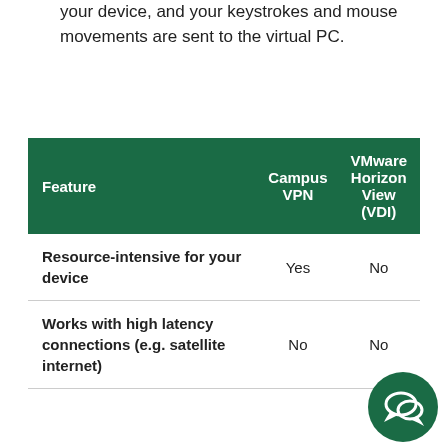your device, and your keystrokes and mouse movements are sent to the virtual PC.
| Feature | Campus VPN | VMware Horizon View (VDI) |
| --- | --- | --- |
| Resource-intensive for your device | Yes | No |
| Works with high latency connections (e.g. satellite internet) | No | No |